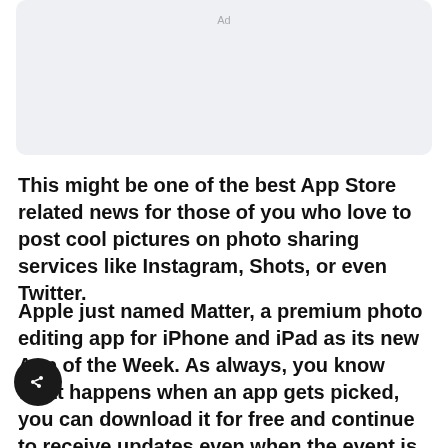[Figure (other): Ad placeholder box with light gray background and 'Ad' label]
This might be one of the best App Store related news for those of you who love to post cool pictures on photo sharing services like Instagram, Shots, or even Twitter.
Apple just named Matter, a premium photo editing app for iPhone and iPad as its new App of the Week. As always, you know what happens when an app gets picked, you can download it for free and continue to receive updates even when the event is over.